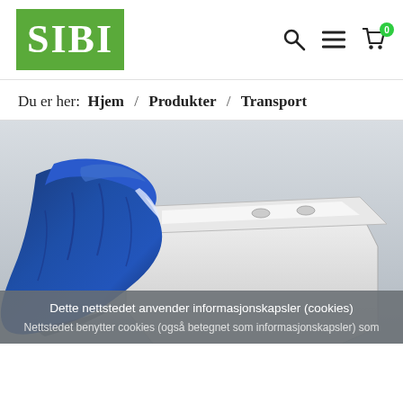SIBI
Du er her: Hjem / Produkter / Transport
[Figure (photo): A blue fabric transport shroud or cover draped over a white coffin/casket, photographed against a light background. The blue fabric is made of shiny satin-like material.]
Dette nettstedet anvender informasjonskapsler (cookies)
Nettstedet benytter cookies (også betegnet som informasjonskapsler) som